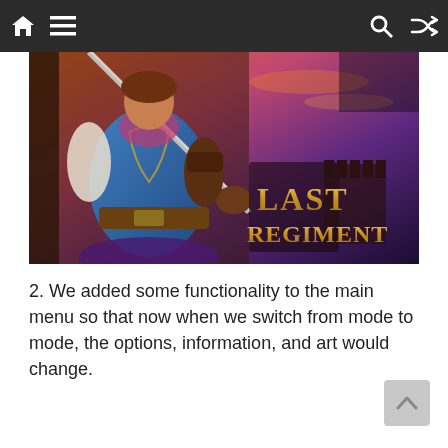Navigation bar with home, menu, search, and shuffle icons
[Figure (illustration): Game artwork for 'Last Regiment' showing a warrior character in blue vest holding a sword, with gold text logo 'Last Regiment' on right side, orange/purple sunset sky background]
2. We added some functionality to the main menu so that now when we switch from mode to mode, the options, information, and art would change.